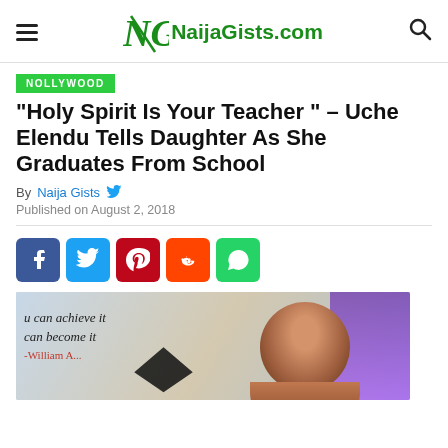NaijaGists.com
NOLLYWOOD
“Holy Spirit Is Your Teacher ” – Uche Elendu Tells Daughter As She Graduates From School
By Naija Gists
Published on August 2, 2018
[Figure (other): Social share buttons: Facebook, Twitter, Pinterest, Reddit, WhatsApp]
[Figure (photo): Photo of a woman at a graduation ceremony, with motivational quote text visible in background reading 'u can achieve it, can become it' attributed to William A...]